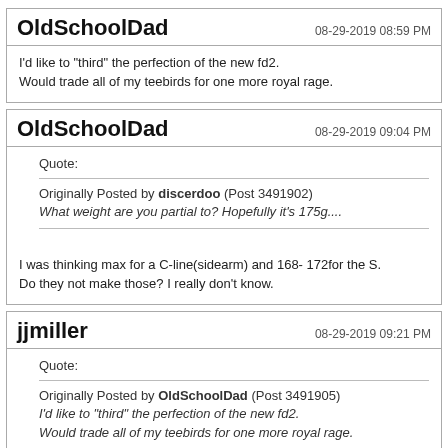OldSchoolDad — 08-29-2019 08:59 PM
I'd like to "third" the perfection of the new fd2.
Would trade all of my teebirds for one more royal rage.
OldSchoolDad — 08-29-2019 09:04 PM
Quote:
Originally Posted by discerdoo (Post 3491902)
What weight are you partial to? Hopefully it's 175g....
I was thinking max for a C-line(sidearm) and 168- 172for the S.
Do they not make those? I really don't know.
jjmiller — 08-29-2019 09:21 PM
Quote:
Originally Posted by OldSchoolDad (Post 3491905)
I'd like to "third" the perfection of the new fd2.
Would trade all of my teebirds for one more royal rage.